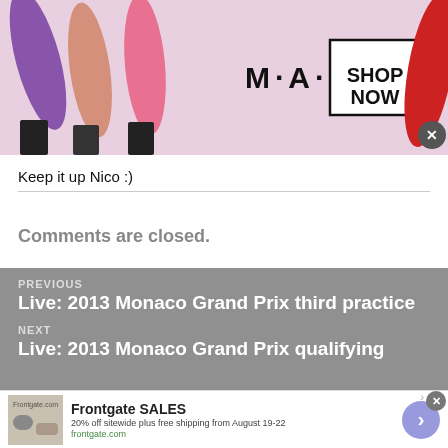[Figure (screenshot): MAC Cosmetics advertisement banner with colorful lipsticks on left, MAC logo in center, and SHOP NOW box on right. Close button in top-right corner.]
Keep it up Nico :)
Comments are closed.
PREVIOUS
Live: 2013 Monaco Grand Prix third practice
NEXT
Live: 2013 Monaco Grand Prix qualifying
[Figure (screenshot): Frontgate SALES advertisement. 20% off sitewide plus free shipping from August 19-22. frontgate.com. Shows outdoor furniture image and purple arrow CTA button.]